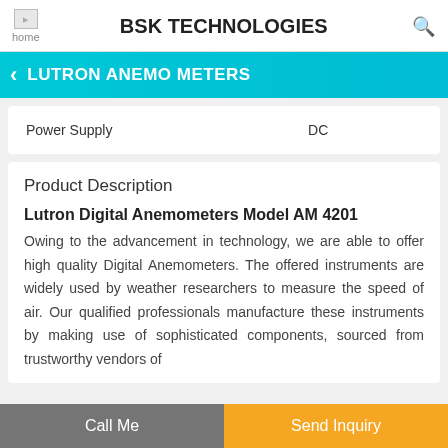BSK TECHNOLOGIES
LUTRON ANEMO METERS
|  |  |
| --- | --- |
| Power Supply | DC |
Product Description
Lutron Digital Anemometers Model AM 4201
Owing to the advancement in technology, we are able to offer high quality Digital Anemometers. The offered instruments are widely used by weather researchers to measure the speed of air. Our qualified professionals manufacture these instruments by making use of sophisticated components, sourced from trustworthy vendors of
Call Me   Send Inquiry